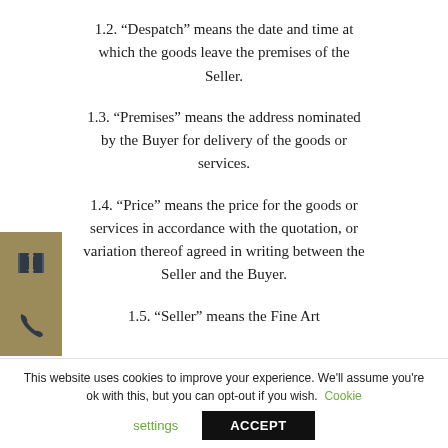1.2. “Despatch” means the date and time at which the goods leave the premises of the Seller.
1.3. “Premises” means the address nominated by the Buyer for delivery of the goods or services.
1.4. “Price” means the price for the goods or services in accordance with the quotation, or variation thereof agreed in writing between the Seller and the Buyer.
1.5. “Seller” means the Fine Art
This website uses cookies to improve your experience. We'll assume you're ok with this, but you can opt-out if you wish. Cookie settings ACCEPT